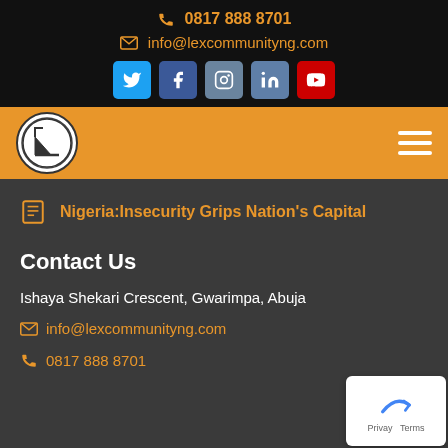📞 0817 888 8701
✉ info@lexcommunityng.com
[Figure (infographic): Social media icons row: Twitter, Facebook, Instagram, LinkedIn, YouTube]
[Figure (logo): Lex Community circular logo on orange navigation bar with hamburger menu icon]
Nigeria:Insecurity Grips Nation's Capital
Contact Us
Ishaya Shekari Crescent, Gwarimpa, Abuja
✉ info@lexcommunityng.com
📞 0817 888 8701